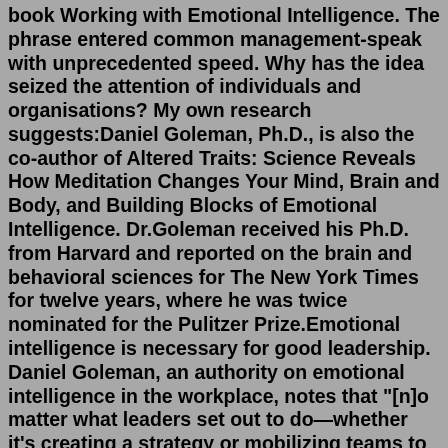book Working with Emotional Intelligence. The phrase entered common management-speak with unprecedented speed. Why has the idea seized the attention of individuals and organisations? My own research suggests:Daniel Goleman, Ph.D., is also the co-author of Altered Traits: Science Reveals How Meditation Changes Your Mind, Brain and Body, and Building Blocks of Emotional Intelligence. Dr.Goleman received his Ph.D. from Harvard and reported on the brain and behavioral sciences for The New York Times for twelve years, where he was twice nominated for the Pulitzer Prize.Emotional intelligence is necessary for good leadership. Daniel Goleman, an authority on emotional intelligence in the workplace, notes that "[n]o matter what leaders set out to do—whether it's creating a strategy or mobilizing teams to action—their success depends on how they do it. Even if they get everything else just right, if ... four horse See full list on teachnthrive.com Emotional intelligence by Goleman, Daniel.